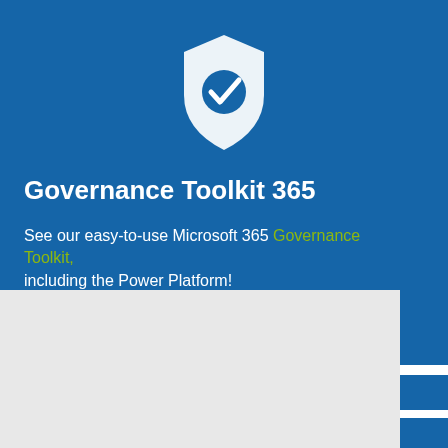[Figure (screenshot): Blue background with white shield/checkmark icon for Governance Toolkit 365 product]
Governance Toolkit 365
See our easy-to-use Microsoft 365 Governance Toolkit, including the Power Platform!
This website uses cookies to ensure you get the best experience on our website.
Learn more
Got it!
Martina Grom, Regional Director